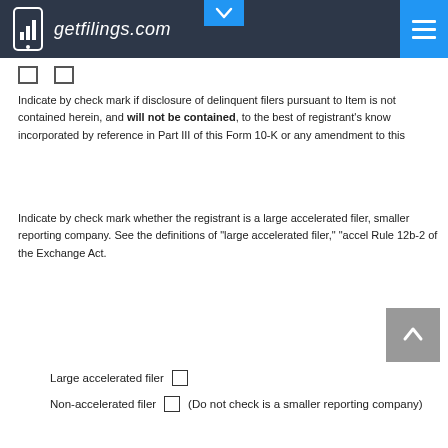getfilings.com
Indicate by check mark if disclosure of delinquent filers pursuant to Item is not contained herein, and will not be contained, to the best of registrant's knowledge, incorporated by reference in Part III of this Form 10-K or any amendment to this
Indicate by check mark whether the registrant is a large accelerated filer, smaller reporting company. See the definitions of "large accelerated filer," "accel Rule 12b-2 of the Exchange Act.
Large accelerated filer  □
Non-accelerated filer  □  (Do not check is a smaller reporting company)